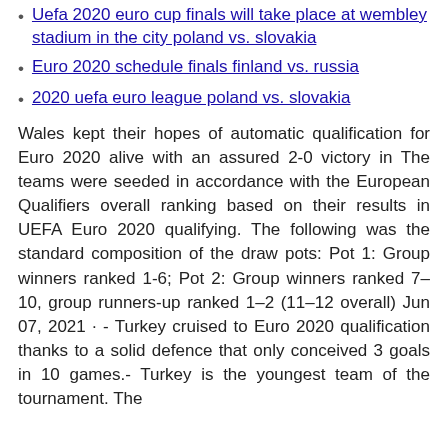Uefa 2020 euro cup finals will take place at wembley stadium in the city poland vs. slovakia
Euro 2020 schedule finals finland vs. russia
2020 uefa euro league poland vs. slovakia
Wales kept their hopes of automatic qualification for Euro 2020 alive with an assured 2-0 victory in The teams were seeded in accordance with the European Qualifiers overall ranking based on their results in UEFA Euro 2020 qualifying. The following was the standard composition of the draw pots: Pot 1: Group winners ranked 1-6; Pot 2: Group winners ranked 7–10, group runners-up ranked 1–2 (11–12 overall) Jun 07, 2021 · - Turkey cruised to Euro 2020 qualification thanks to a solid defence that only conceived 3 goals in 10 games.- Turkey is the youngest team of the tournament. The